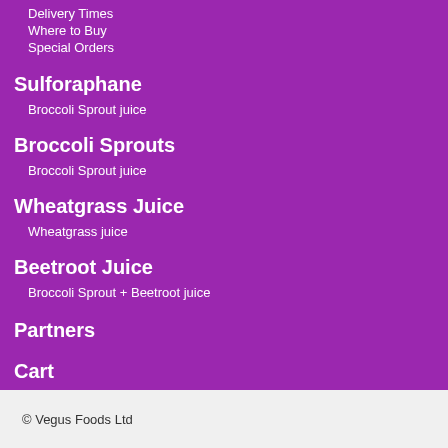Delivery Times
Where to Buy
Special Orders
Sulforaphane
Broccoli Sprout juice
Broccoli Sprouts
Broccoli Sprout juice
Wheatgrass Juice
Wheatgrass juice
Beetroot Juice
Broccoli Sprout + Beetroot juice
Partners
Cart
© Vegus Foods Ltd